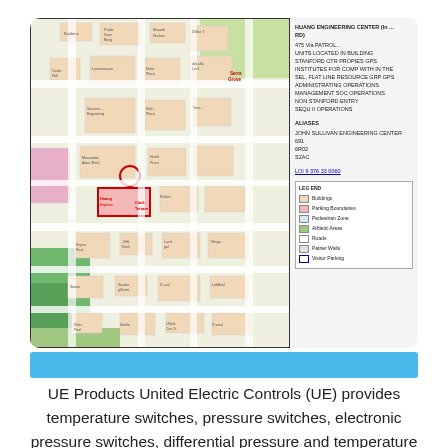[Figure (map): Campus map showing Stanford Engineering Center location with building highlighted in red box, plus a legend and info panel on the right side.]
UE Products United Electric Controls (UE) provides temperature switches, pressure switches, electronic pressure switches, differential pressure and temperature transmitters,